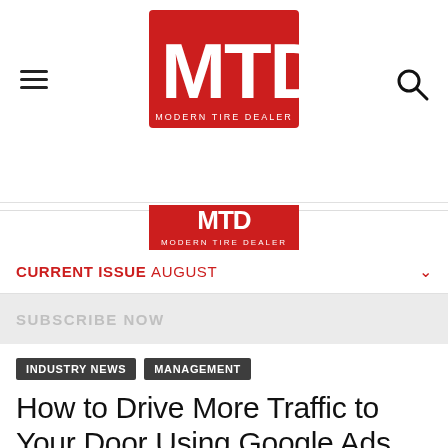[Figure (logo): MTD Modern Tire Dealer red logo]
[Figure (logo): MTD Modern Tire Dealer red logo strip (partial, bottom)]
CURRENT ISSUE AUGUST
SUBSCRIBE NOW
INDUSTRY NEWS
MANAGEMENT
How to Drive More Traffic to Your Door Using Google Ads